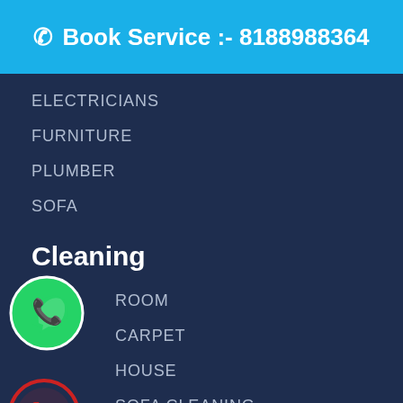Book Service :- 8188988364
ELECTRICIANS
FURNITURE
PLUMBER
SOFA
Cleaning
ROOM
CARPET
HOUSE
SOFA CLEANING